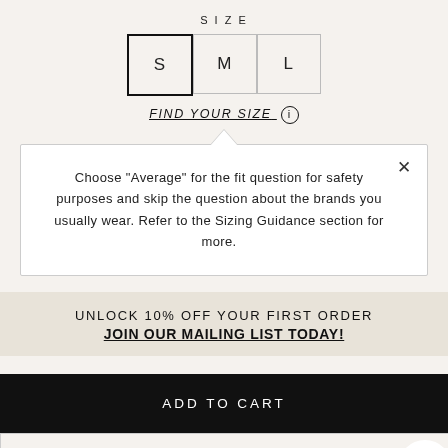SIZE
[Figure (other): Three size selector buttons labeled S (selected with thick border), M, and L]
FIND YOUR SIZE ℹ
Choose "Average" for the fit question for safety purposes and skip the question about the brands you usually wear. Refer to the Sizing Guidance section for more.
UNLOCK 10% OFF YOUR FIRST ORDER
JOIN OUR MAILING LIST TODAY!
ADD TO CART
ADD TO BABYLIST